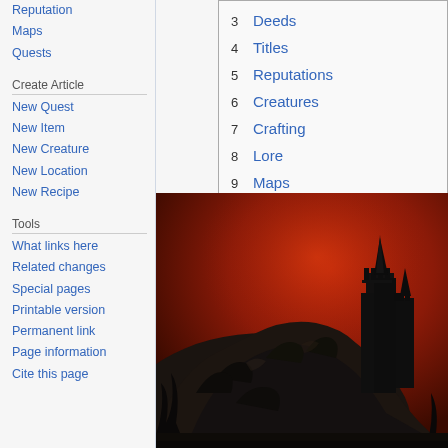Reputation
Maps
Quests
Create Article
New Quest
New Item
New Creature
New Location
New Recipe
Tools
What links here
Related changes
Special pages
Printable version
Permanent link
Page information
Cite this page
| # | Link |
| --- | --- |
| 3 | Deeds |
| 4 | Titles |
| 5 | Reputations |
| 6 | Creatures |
| 7 | Crafting |
| 8 | Lore |
| 9 | Maps |
| 10 | Gallery |
[Figure (illustration): Dark fantasy scene with a large black rocky mountain or creature silhouette and a tall gothic castle/tower in the background, set against a deep red sky.]